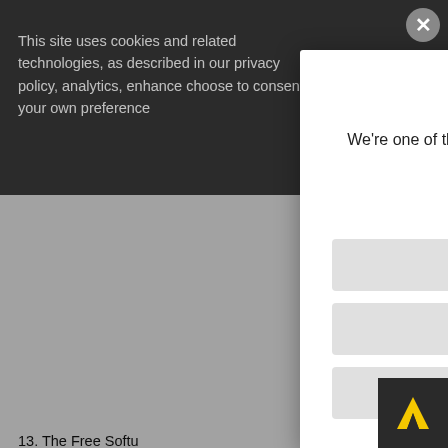This site uses cookies and related technologies, as described in our privacy policy, analytics, enhance choose to consent your own preference
13. The Free Softu new versions of the Le time. Such new versio but may differ in d

Each version is g Library
specifies a version number of this License which applies to it and
"any later version", you have the option of following the terms
[Figure (screenshot): Welcome to Aptean modal dialog with hamburger icon, description text, and three buttons: Talk to Sales, Customer Support, Looking for Something Else]
[Figure (logo): Aptean logo - yellow arrow/chevron on dark background, bottom right corner]